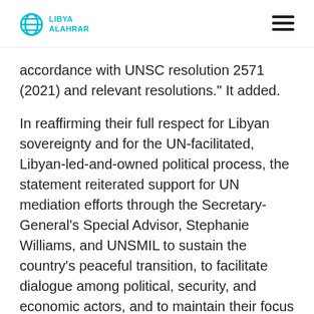LIBYA ALAHRAR
accordance with UNSC resolution 2571 (2021) and relevant resolutions." It added.
In reaffirming their full respect for Libyan sovereignty and for the UN-facilitated, Libyan-led-and-owned political process, the statement reiterated support for UN mediation efforts through the Secretary-General's Special Advisor, Stephanie Williams, and UNSMIL to sustain the country's peaceful transition, to facilitate dialogue among political, security, and economic actors, and to maintain their focus on holding credible, transparent, and inclusive presidential and parliamentary elections as soon as possible in order to fulfil the democratic aspirations of the